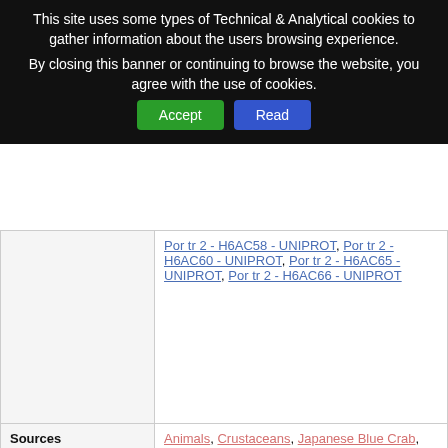This site uses some types of Technical & Analytical cookies to gather information about the users browsing experience. By closing this banner or continuing to browse the website, you agree with the use of cookies.
| Field | Value |
| --- | --- |
| (partial row) | Por tr 2 - H6AC58 - UNIPROT, Por tr 2 - H6AC60 - UNIPROT, Por tr 2 - H6AC65 - UNIPROT, Por tr 2 - H6AC66 - UNIPROT |
| Sources | Animals, Crustaceans, Japanese Blue Crab, Portunidae, Portunus trituberculatus, Swimming Crab ... other Source Terms in available Languages -> |
| Links to Source Taxonomy | Por tr - 210409 - NCBI, Por tr - 210409 - UniProt, Por tr - Discover Life, Por tr - Wikipedia |
| Links to Source Images | Portunus trituberculatus on Google images |
| Tissues | Muscle |
| Routes of Exposure | Ingestion |
| References | Biochemistry / Structure / Function |